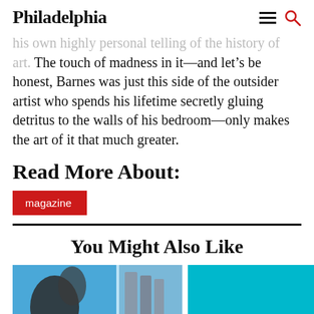Philadelphia
his own highly personal telling of the history of art. The touch of madness in it—and let's be honest, Barnes was just this side of the outsider artist who spends his lifetime secretly gluing detritus to the walls of his bedroom—only makes the art of it that much greater.
Read More About:
magazine
You Might Also Like
[Figure (photo): Two thumbnail images side by side: left shows a classical sculpture detail against blue sky, right shows a solid cyan/teal colored rectangle (placeholder image).]